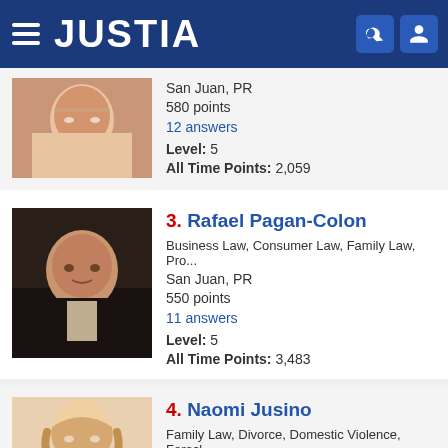JUSTIA
San Juan, PR
580 points
12 answers
Level: 5
All Time Points: 2,059
3. Rafael Pagan-Colon
Business Law, Consumer Law, Family Law, Pro...
San Juan, PR
550 points
11 answers
Level: 5
All Time Points: 3,483
4. Naomi Jusino
Family Law, Divorce, Domestic Violence, Forecl...
Ponce, PR